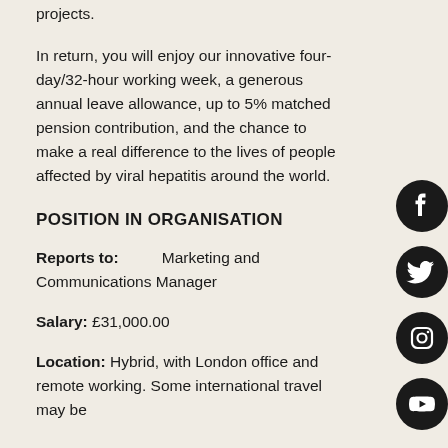projects.
In return, you will enjoy our innovative four-day/32-hour working week, a generous annual leave allowance, up to 5% matched pension contribution, and the chance to make a real difference to the lives of people affected by viral hepatitis around the world.
POSITION IN ORGANISATION
Reports to: Marketing and Communications Manager
Salary: £31,000.00
Location: Hybrid, with London office and remote working. Some international travel may be
[Figure (illustration): Four circular social media icons (Facebook, Twitter/X, Instagram, YouTube) arranged vertically on the right side of the page, black circles with white icons.]